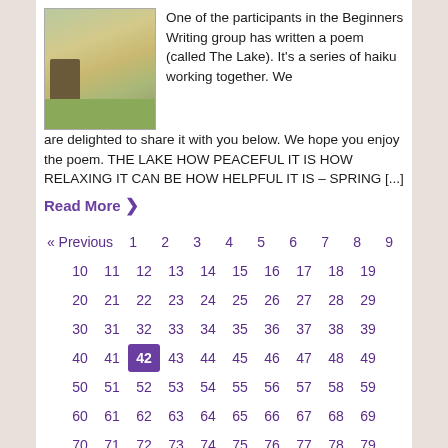[Figure (photo): Garden photo showing yellow flowers/daffodils in front of a stone wall with a bare tree branch]
One of the participants in the Beginners Writing group has written a poem (called The Lake). It's a series of haiku working together. We are delighted to share it with you below. We hope you enjoy the poem. THE LAKE HOW PEACEFUL IT IS HOW RELAXING IT CAN BE HOW HELPFUL IT IS – SPRING [...]
Read More >
« Previous  1  2  3  4  5  6  7  8  9  10  11  12  13  14  15  16  17  18  19  20  21  22  23  24  25  26  27  28  29  30  31  32  33  34  35  36  37  38  39  40  41  42  43  44  45  46  47  48  49  50  51  52  53  54  55  56  57  58  59  60  61  62  63  64  65  66  67  68  69  70  71  72  73  74  75  76  77  78  79  80  81  82  83  84  85  86  87  88  89  90  91  92  93  94  95  Next »